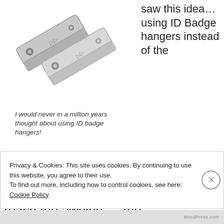[Figure (photo): Two silver metal ID badge clips/hangers shown diagonally]
saw this idea… using ID Badge hangers instead of the
I would never in a million years thought about using ID badge hangers!
paracord loupes I thought that's not a bad suggestion.  But now unless I stand on a picnic table I still can't reach the awning — the
Privacy & Cookies: This site uses cookies. By continuing to use this website, you agree to their use.
To find out more, including how to control cookies, see here: Cookie Policy
Close and accept